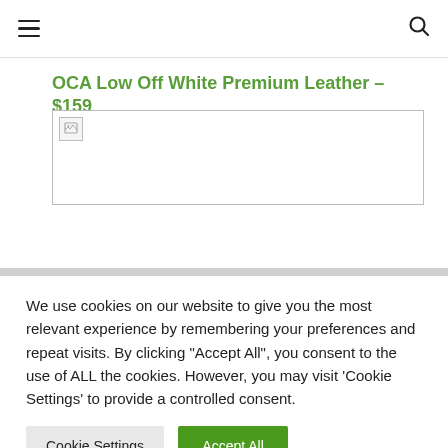[Hamburger menu icon] [Search icon]
OCA Low Off White Premium Leather – $159
[Figure (photo): Broken/loading product image placeholder for OCA Low Off White Premium Leather shoe]
We use cookies on our website to give you the most relevant experience by remembering your preferences and repeat visits. By clicking "Accept All", you consent to the use of ALL the cookies. However, you may visit 'Cookie Settings' to provide a controlled consent.
Cookie Settings   Accept All